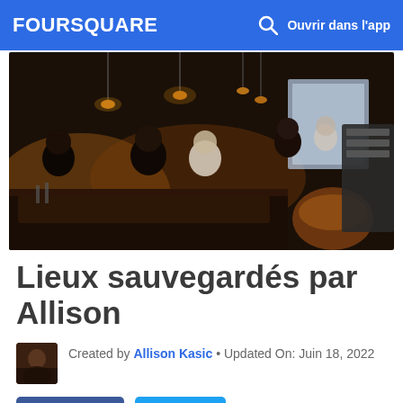FOURSQUARE  Ouvrir dans l'app
[Figure (photo): Interior of a dimly lit bar/restaurant with people seated, pendant lights, and reflective surfaces]
Lieux sauvegardés par Allison
Created by Allison Kasic • Updated On: Juin 18, 2022
Partager  Tweet